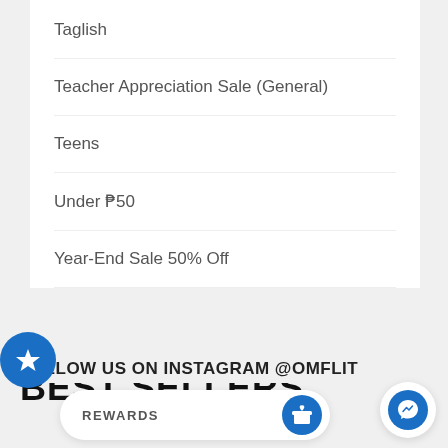Taglish
Teacher Appreciation Sale (General)
Teens
Under ₱50
Year-End Sale 50% Off
BEST SELLERS
FOLLOW US ON INSTAGRAM @OMFLIT
REWARDS